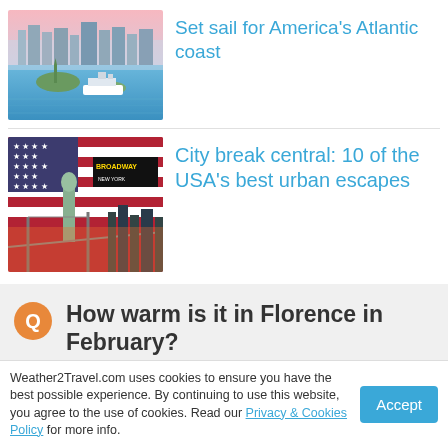[Figure (photo): Aerial view of New York harbor with cruise ship and Statue of Liberty]
Set sail for America's Atlantic coast
[Figure (photo): Collage of USA travel images: American flag, Statue of Liberty, Brooklyn Bridge, city skyline, Broadway sign]
City break central: 10 of the USA's best urban escapes
How warm is it in Florence in February?
Daytime temperatures usually reach 12°C in Florence in February, falling to -0°C at night
Weather2Travel.com uses cookies to ensure you have the best possible experience. By continuing to use this website, you agree to the use of cookies. Read our Privacy & Cookies Policy for more info.